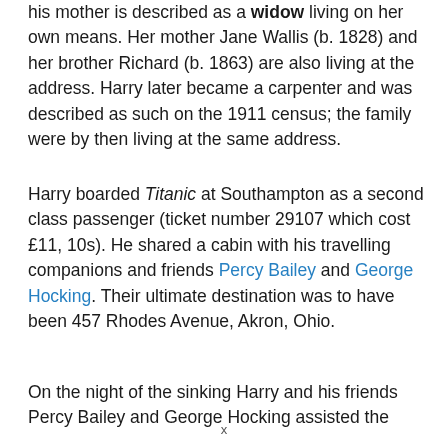his mother is described as a widow living on her own means. Her mother Jane Wallis (b. 1828) and her brother Richard (b. 1863) are also living at the address. Harry later became a carpenter and was described as such on the 1911 census; the family were by then living at the same address.
Harry boarded Titanic at Southampton as a second class passenger (ticket number 29107 which cost £11, 10s). He shared a cabin with his travelling companions and friends Percy Bailey and George Hocking. Their ultimate destination was to have been 457 Rhodes Avenue, Akron, Ohio.
On the night of the sinking Harry and his friends Percy Bailey and George Hocking assisted the
x